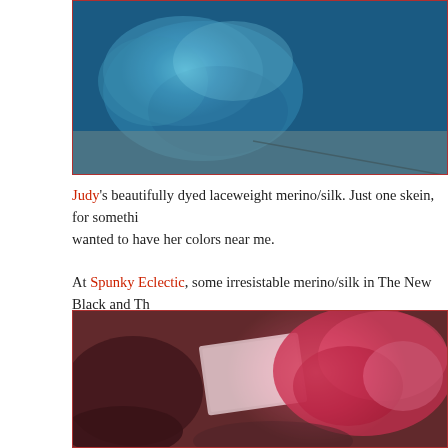[Figure (photo): Blue/teal laceweight merino/silk yarn skein on a wooden floor surface]
Judy's beautifully dyed laceweight merino/silk. Just one skein, for something... wanted to have her colors near me.
At Spunky Eclectic, some irresistable merino/silk in The New Black and Th...
[Figure (photo): Pink/red merino/silk wool roving with a white paper label, arranged with other dark fiber samples on a surface]